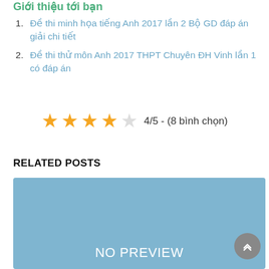Giới thiệu tới bạn
Đề thi minh họa tiếng Anh 2017 lần 2 Bộ GD đáp án giải chi tiết
Đề thi thử môn Anh 2017 THPT Chuyên ĐH Vinh lần 1 có đáp án
[Figure (infographic): Star rating: 4 filled stars and 1 empty star, with text '4/5 - (8 bình chọn)']
RELATED POSTS
[Figure (photo): Light blue placeholder image with 'NO PREVIEW' text centered at the bottom]